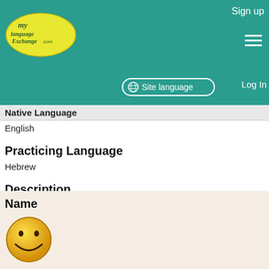Sign up | Site language | Log In
Native Language
English
Practicing Language
Hebrew
Description
Shalom. I would like to learn more of Hebrew then what I hear in the Shul and from tapes. I am in the process of conversion (Torah-true), and would like to speak with anybody who can help me in Hebrew. I enjoy hiking mountains, skateboarding, reading/studying, soccer, Judaism, and weight-lifting.
Name
[Figure (illustration): Yellow smiley face emoji/icon]